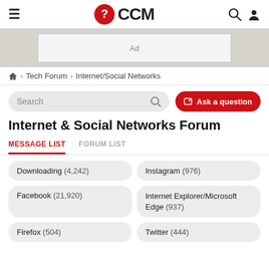CCM
[Figure (other): Ad banner placeholder]
Home > Tech Forum > Internet/Social Networks
Search | Ask a question
Internet & Social Networks Forum
MESSAGE LIST  FORUM LIST
Downloading (4,242)
Instagram (976)
Facebook (21,920)
Internet Explorer/Microsoft Edge (937)
Firefox (504)
Twitter (444)